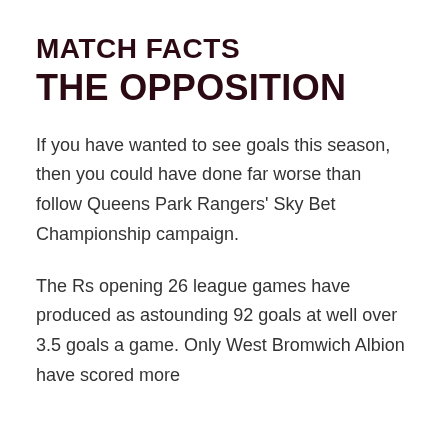MATCH FACTS
THE OPPOSITION
If you have wanted to see goals this season, then you could have done far worse than follow Queens Park Rangers' Sky Bet Championship campaign.
The Rs opening 26 league games have produced as astounding 92 goals at well over 3.5 goals a game. Only West Bromwich Albion have scored more